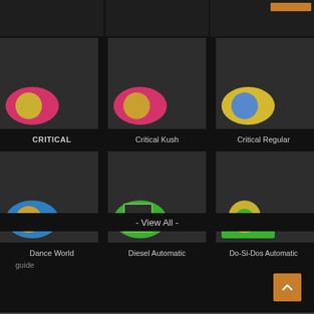[Figure (photo): Partial top row of cannabis strain cards, cut off at top]
[Figure (photo): Cannabis strain card: CRITICAL - plant image with pink/magenta circle logo]
[Figure (photo): Cannabis strain card: Critical Kush - plant image with pink circle logo]
[Figure (photo): Cannabis strain card: Critical Regular - plant image with yellow circle logo]
CRITICAL
Critical Kush
Critical Regular
[Figure (photo): Cannabis strain card: Dance World - plant image with blue circle logo]
[Figure (photo): Cannabis strain card: Diesel Automatic - plant image with green circle logo]
[Figure (photo): Cannabis strain card: Do-Si-Dos Automatic - plant image with green/yellow circle logo]
Dance World
Diesel Automatic
Do-Si-Dos Automatic
- View All -
[Figure (other): guide image (broken image placeholder)]